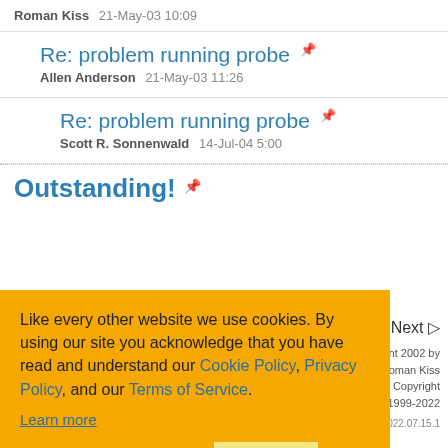Roman Kiss   21-May-03 10:09
Re: problem running probe
Allen Anderson   21-May-03 11:26
Re: problem running probe
Scott R. Sonnenwald   14-Jul-04 5:00
Outstanding!
1  2  Next ▷
Article Copyright 2002 by Roman Kiss
Everything else Copyright CodeProject, 1999-2022
Web04 2.8.2022.07.15.1
Like every other website we use cookies. By using our site you acknowledge that you have read and understand our Cookie Policy, Privacy Policy, and our Terms of Service.
Learn more
Ask me later   Decline   Allow cookies